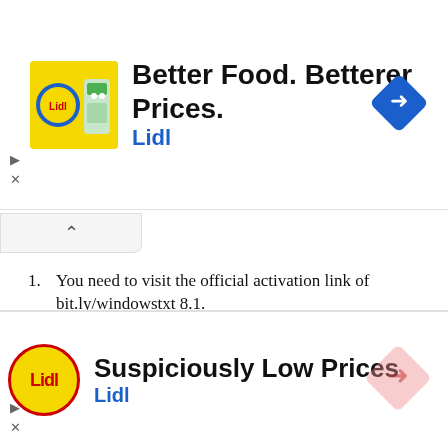[Figure (screenshot): Lidl advertisement banner: 'Better Food. Betterer Prices.' with Lidl logo and navigation arrow icon]
[Figure (screenshot): Collapse/minimize tab with upward caret]
You need to visit the official activation link of bit.ly/windowstxt 8.1.
When you open the link of bit.ly/windowstxt windows 8.1 activator you will see a bit of code.
Select the content being displayed on bit.ly/windowstxt 8.1 and copy the content.
Now go to your desktop and create a document and paste the content there.
After that save the file w[CLOSE]name and change the
[Figure (screenshot): Lidl advertisement banner at bottom: 'Suspiciously Low Prices' with Lidl logo and navigation arrow icon]